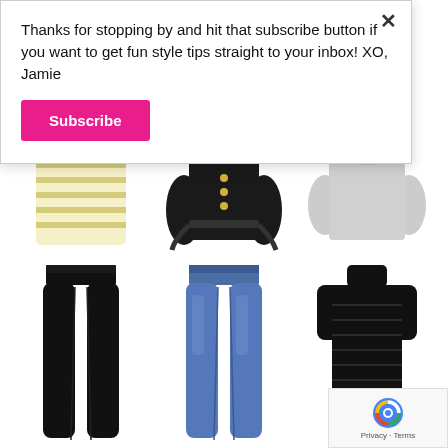[Figure (photo): Background e-commerce clothing grid showing six clothing items: top row has yellow striped tee, black belted blouse, grey long-sleeve top; bottom row has black skinny jeans, blue denim jeans, and black ribbed turtleneck dress.]
Thanks for stopping by and hit that subscribe button if you want to get fun style tips straight to your inbox! XO, Jamie
[Figure (screenshot): Pink Subscribe button]
[Figure (logo): reCAPTCHA badge with Privacy · Terms text]